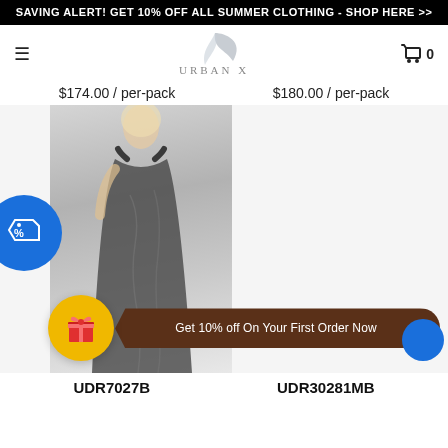SAVING ALERT! GET 10% OFF ALL SUMMER CLOTHING - SHOP HERE >>
[Figure (logo): Urban X brand logo with grey leaf graphic and text 'URBAN X']
$174.00 / per-pack     $180.00 / per-pack
[Figure (photo): Model wearing a dark sleeveless maxi dress (UDR7027B) with a blue discount badge on the left side]
Get 10% off On Your First Order Now
UDR7027B     UDR30281MB